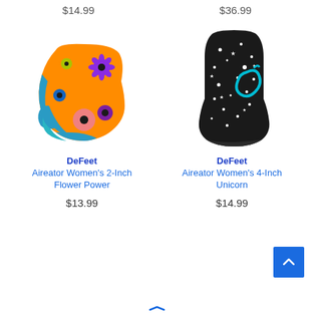$14.99
$36.99
[Figure (photo): Orange ankle sock with blue heel/toe and colorful flower pattern (DeFeet Aireator Women's 2-Inch Flower Power)]
[Figure (photo): Black tall sock with white stars/dots and teal unicorn design (DeFeet Aireator Women's 4-Inch Unicorn)]
DeFeet
Aireator Women's 2-Inch Flower Power
DeFeet
Aireator Women's 4-Inch Unicorn
$13.99
$14.99